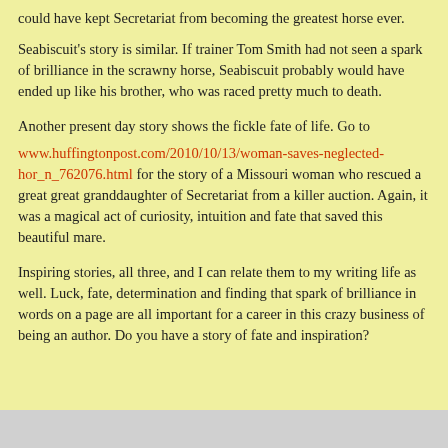could have kept Secretariat from becoming the greatest horse ever.
Seabiscuit's story is similar. If trainer Tom Smith had not seen a spark of brilliance in the scrawny horse, Seabiscuit probably would have ended up like his brother, who was raced pretty much to death.
Another present day story shows the fickle fate of life. Go to
www.huffingtonpost.com/2010/10/13/woman-saves-neglected-hor_n_762076.html for the story of a Missouri woman who rescued a great great granddaughter of Secretariat from a killer auction. Again, it was a magical act of curiosity, intuition and fate that saved this beautiful mare.
Inspiring stories, all three, and I can relate them to my writing life as well. Luck, fate, determination and finding that spark of brilliance in words on a page are all important for a career in this crazy business of being an author. Do you have a story of fate and inspiration?